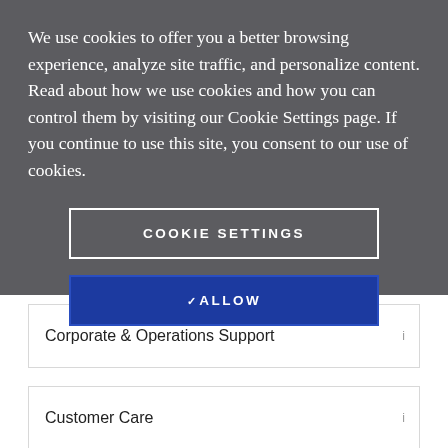We use cookies to offer you a better browsing experience, analyze site traffic, and personalize content. Read about how we use cookies and how you can control them by visiting our Cookie Settings page. If you continue to use this site, you consent to our use of cookies.
COOKIE SETTINGS
✓ ALLOW
Corporate & Operations Support
Customer Care
Engineering & Network Operations